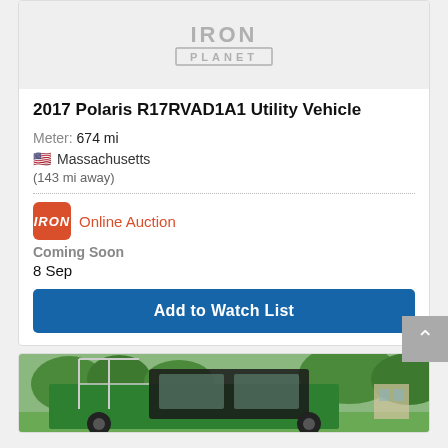[Figure (logo): IronPlanet logo - IRON PLANET text in gray on light gray background]
2017 Polaris R17RVAD1A1 Utility Vehicle
Meter: 674 mi
🇺🇸 Massachusetts
(143 mi away)
[Figure (logo): IRON badge logo - orange/red square with IRON text in white italic]
Online Auction
Coming Soon
8 Sep
Add to Watch List
[Figure (photo): Green utility vehicle with enclosed cab, metal railing framework visible, trees in background]